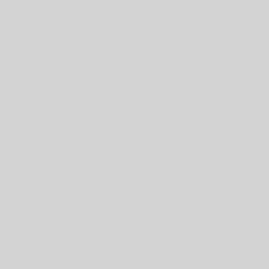The complete set of doc... includes discussion abo... conditions, and sample...
Download FEMWAT...
File Size: 1064154 bytes
File Date: Thu Oct 4 19:51:26 2...
This ZIP file contains th... and data needed to exe... driven, flow and transpo... model using FEMWATE...
Download UTCHEM...
File Size: 2864997 bytes
File Date: Wed Oct 18 17:27:19 2...
Pioneering research bei... basis for modeling and e... development and applic... application of UTCHEM... which accounts for com... media properties, and u... vector and parallel proc...
Download UTCHE...